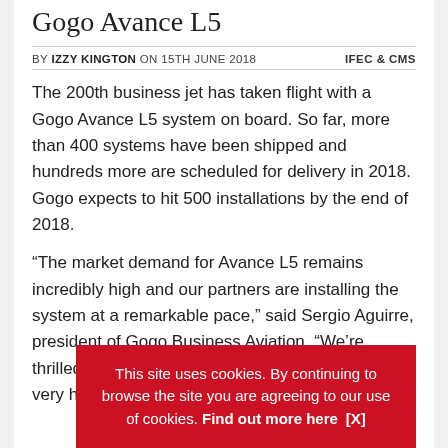Gogo Avance L5
BY IZZY KINGTON ON 15TH JUNE 2018    IFEC & CMS
The 200th business jet has taken flight with a Gogo Avance L5 system on board. So far, more than 400 systems have been shipped and hundreds more are scheduled for delivery in 2018. Gogo expects to hit 500 installations by the end of 2018.
“The market demand for Avance L5 remains incredibly high and our partners are installing the system at a remarkable pace,” said Sergio Aguirre, president of Gogo Business Aviation. “We’re thrilled with the feedback we’ve been flying with very happy
This site uses cookies. By continuing to browse the site you are agreeing to our use of cookies. Find out more here   [X]